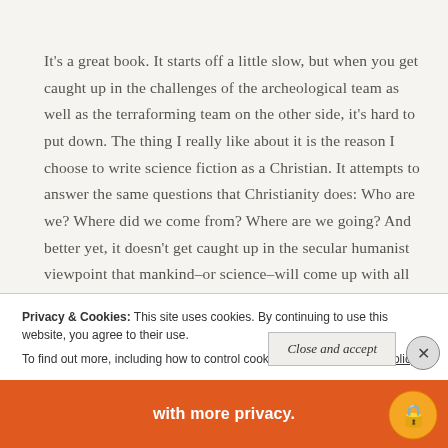It's a great book. It starts off a little slow, but when you get caught up in the challenges of the archeological team as well as the terraforming team on the other side, it's hard to put down. The thing I really like about it is the reason I choose to write science fiction as a Christian. It attempts to answer the same questions that Christianity does: Who are we? Where did we come from? Where are we going? And better yet, it doesn't get caught up in the secular humanist viewpoint that mankind–or science–will come up with all the answers for mankind's ills. In
Privacy & Cookies: This site uses cookies. By continuing to use this website, you agree to their use. To find out more, including how to control cookies, see here: Cookie Policy
Close and accept
with more privacy.